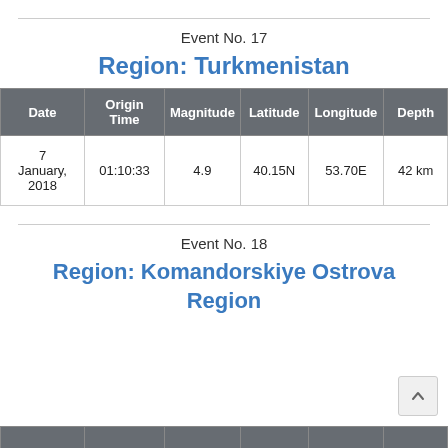Event No. 17
Region: Turkmenistan
| Date | Origin Time | Magnitude | Latitude | Longitude | Depth |
| --- | --- | --- | --- | --- | --- |
| 7 January, 2018 | 01:10:33 | 4.9 | 40.15N | 53.70E | 42 km |
Event No. 18
Region: Komandorskiye Ostrova Region